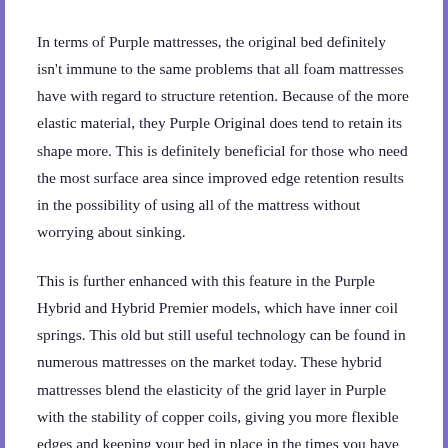In terms of Purple mattresses, the original bed definitely isn't immune to the same problems that all foam mattresses have with regard to structure retention. Because of the more elastic material, they Purple Original does tend to retain its shape more. This is definitely beneficial for those who need the most surface area since improved edge retention results in the possibility of using all of the mattress without worrying about sinking.
This is further enhanced with this feature in the Purple Hybrid and Hybrid Premier models, which have inner coil springs. This old but still useful technology can be found in numerous mattresses on the market today. These hybrid mattresses blend the elasticity of the grid layer in Purple with the stability of copper coils, giving you more flexible edges and keeping your bed in place in the times you have to, and off it when you aren't.